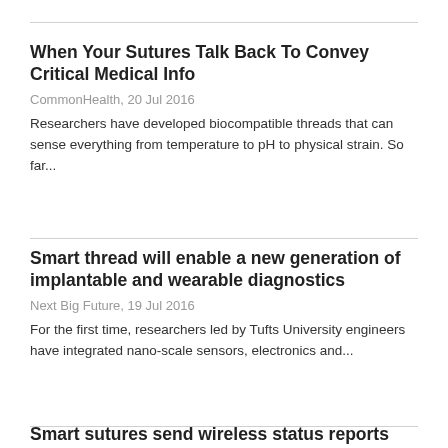When Your Sutures Talk Back To Convey Critical Medical Info
CommonHealth, 20 Jul 2016
Researchers have developed biocompatible threads that can sense everything from temperature to pH to physical strain. So far...
Smart thread will enable a new generation of implantable and wearable diagnostics
Next Big Future, 19 Jul 2016
For the first time, researchers led by Tufts University engineers have integrated nano-scale sensors, electronics and...
Smart sutures send wireless status reports